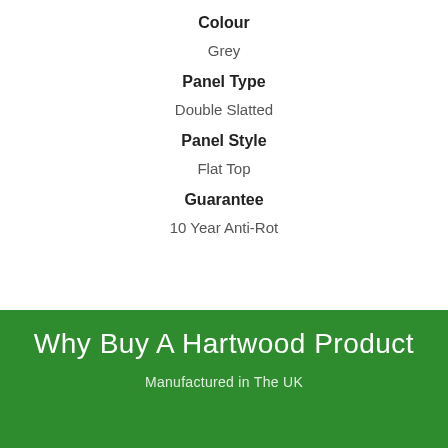Colour
Grey
Panel Type
Double Slatted
Panel Style
Flat Top
Guarantee
10 Year Anti-Rot
Why Buy A Hartwood Product
Manufactured in The UK